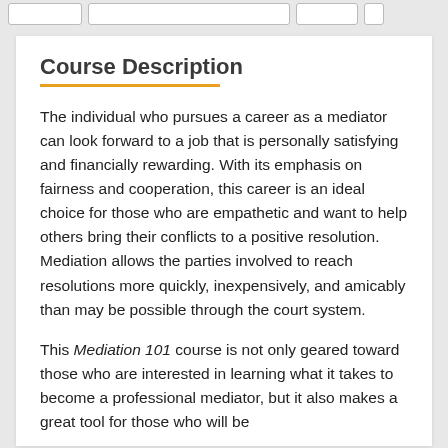[navigation bar with buttons]
Course Description
The individual who pursues a career as a mediator can look forward to a job that is personally satisfying and financially rewarding. With its emphasis on fairness and cooperation, this career is an ideal choice for those who are empathetic and want to help others bring their conflicts to a positive resolution. Mediation allows the parties involved to reach resolutions more quickly, inexpensively, and amicably than may be possible through the court system.
This Mediation 101 course is not only geared toward those who are interested in learning what it takes to become a professional mediator, but it also makes a great tool for those who will be